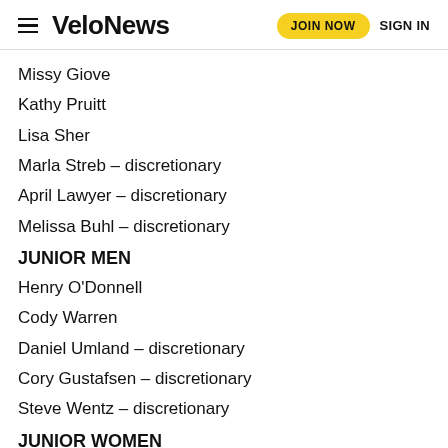VeloNews  JOIN NOW  SIGN IN
Missy Giove
Kathy Pruitt
Lisa Sher
Marla Streb – discretionary
April Lawyer – discretionary
Melissa Buhl – discretionary
JUNIOR MEN
Henry O'Donnell
Cody Warren
Daniel Umland – discretionary
Cory Gustafsen – discretionary
Steve Wentz – discretionary
JUNIOR WOMEN
Magen, Long
Leana Gerrard